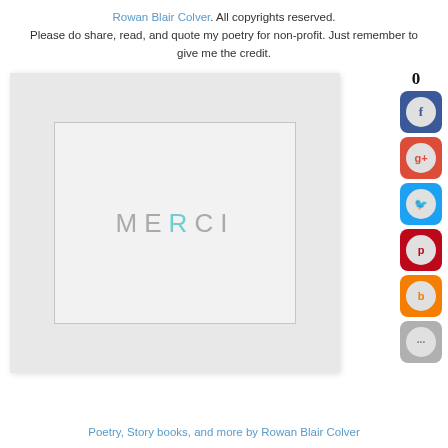Rowan Blair Colver. All copyrights reserved. Please do share, read, and quote my poetry for non-profit. Just remember to give me the credit.
[Figure (illustration): A greeting card with light grey background featuring the word MERCI in large spaced letters, with the letter R in teal/cyan and the rest in light grey, inside a bordered inner rectangle, all set within a larger light grey card.]
0
[Figure (infographic): Social sharing buttons: Facebook (blue), Google+ (red), Twitter (blue), Pinterest (red), Blogger (orange), and more (grey)]
Poetry, Story books, and more by Rowan Blair Colver